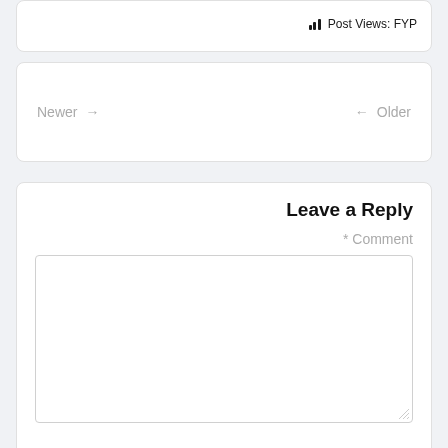Post Views: FYP
Newer → ← Older
Leave a Reply
* Comment